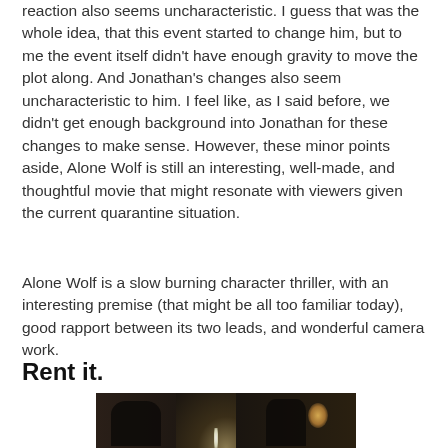reaction also seems uncharacteristic.  I guess that was the whole idea, that this event started to change him, but to me the event itself didn't have enough gravity to move the plot along.  And Jonathan's changes also seem uncharacteristic to him.  I feel like, as I said before, we didn't get enough background into Jonathan for these changes to make sense.  However, these minor points aside, Alone Wolf is still an interesting, well-made, and thoughtful movie that might resonate with viewers given the current quarantine situation.
Alone Wolf is a slow burning character thriller, with an interesting premise (that might be all too familiar today), good rapport between its two leads, and wonderful camera work.
Rent it.
[Figure (photo): Dark cinema still showing two silhouetted figures in a dimly lit room, with a bright light beam in the center and a lamp glowing on the right side.]